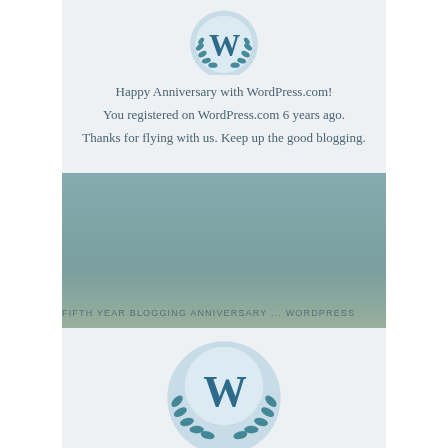[Figure (illustration): WordPress 6-year anniversary badge: circular light blue badge with WordPress W logo and laurel wreath in dark teal/steel blue color, partially cropped at top]
Happy Anniversary with WordPress.com!
You registered on WordPress.com 6 years ago.
Thanks for flying with us. Keep up the good blogging.
FIFTH YEAR BLOGGING ANNIVERSARY ... WORDPRESS
[Figure (illustration): WordPress 5-year anniversary badge: circular light blue badge with WordPress W logo and laurel wreath in dark teal/steel blue color]
Happy Anniversary with WordPress.com!
You registered on WordPress.com 5 years ago.